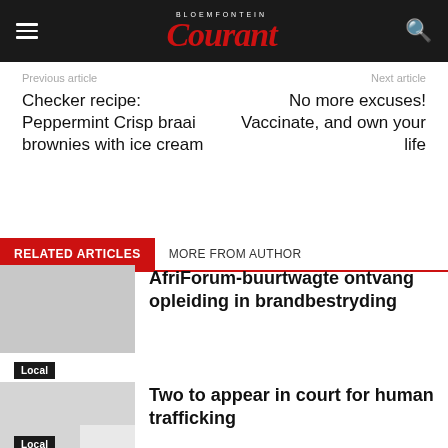BLOEMFONTEIN Courant
Previous article
Next article
Checker recipe: Peppermint Crisp braai brownies with ice cream
No more excuses! Vaccinate, and own your life
RELATED ARTICLES   MORE FROM AUTHOR
AfriForum-buurtwagte ontvang opleiding in brandbestryding
Local
Two to appear in court for human trafficking
Local